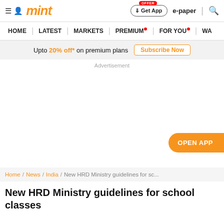mint
HOME | LATEST | MARKETS | PREMIUM | FOR YOU | WA
Upto 20% off* on premium plans Subscribe Now
Advertisement
OPEN APP
Home / News / India / New HRD Ministry guidelines for sc...
New HRD Ministry guidelines for school classes